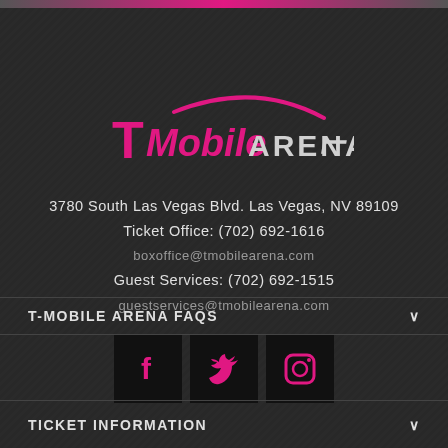[Figure (logo): T-Mobile Arena logo with magenta T-Mobile T symbol and magenta arena arc above text]
3780 South Las Vegas Blvd. Las Vegas, NV 89109
Ticket Office: (702) 692-1616
boxoffice@tmobilearena.com
Guest Services: (702) 692-1515
guestservices@tmobilearena.com
[Figure (infographic): Three social media icons: Facebook (f), Twitter (bird), Instagram (camera) in magenta on black square backgrounds]
T-MOBILE ARENA FAQS
TICKET INFORMATION